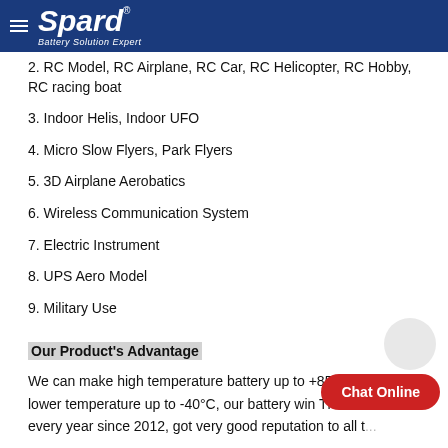Spard Battery Solution Expert
2. RC Model, RC Airplane, RC Car, RC Helicopter, RC Hobby, RC racing boat
3. Indoor Helis, Indoor UFO
4. Micro Slow Flyers, Park Flyers
5. 3D Airplane Aerobatics
6. Wireless Communication System
7. Electric Instrument
8. UPS Aero Model
9. Military Use
Our Product's Advantage
We can make high temperature battery up to +85°C and ultra-lower temperature up to -40°C, our battery win The World Ch... every year since 2012, got very good reputation to all t...